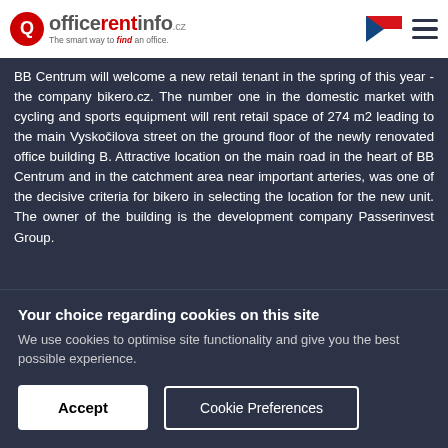officerentinfo.cz — The smart way to find an office.
BB Centrum will welcome a new retail tenant in the spring of this year - the company bikero.cz. The number one in the domestic market with cycling and sports equipment will rent retail space of 274 m2 leading to the main Vyskočilova street on the ground floor of the newly renovated office building B. Attractive location on the main road in the heart of BB Centrum and in the catchment area near important arteries, was one of the decisive criteria for bikero in selecting the location for the new unit. The owner of the building is the development company Passerinvest Group.
Your choice regarding cookies on this site
We use cookies to optimise site functionality and give you the best possible experience.